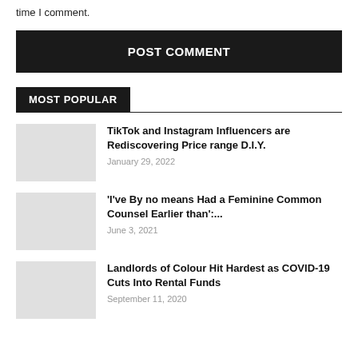time I comment.
POST COMMENT
MOST POPULAR
TikTok and Instagram Influencers are Rediscovering Price range D.I.Y.
January 29, 2022
'I've By no means Had a Feminine Common Counsel Earlier than':....
June 3, 2021
Landlords of Colour Hit Hardest as COVID-19 Cuts Into Rental Funds
September 11, 2020